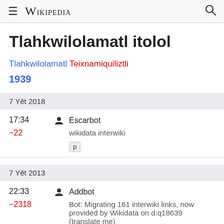≡ WIKIPEDIA 🔍
Tlahkwilolamatl itolol
Tlahkwilolamatl Teixnamiquiliztli
1939
7 Yēt 2018
17:34   Escarbot
−22   wikidata interwiki   p
7 Yēt 2013
22:33   Addbot
−2318   Bot: Migrating 161 interwiki links, now provided by Wikidata on d:q18639 (translate me)